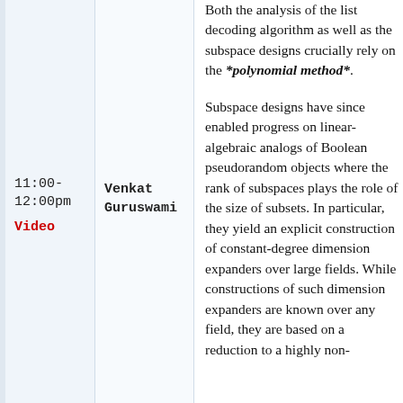Both the analysis of the list decoding algorithm as well as the subspace designs crucially rely on the *polynomial method*.
11:00-12:00pm
Video
Venkat Guruswami
Subspace designs have since enabled progress on linear-algebraic analogs of Boolean pseudorandom objects where the rank of subspaces plays the role of the size of subsets. In particular, they yield an explicit construction of constant-degree dimension expanders over large fields. While constructions of such dimension expanders are known over any field, they are based on a reduction to a highly non-